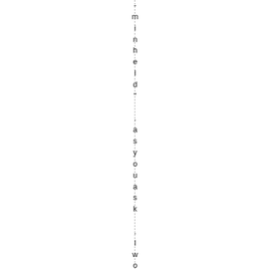-minheId" .as you ask .I wonder if it...